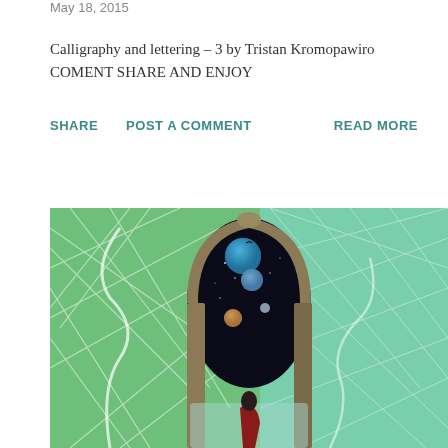May 18, 2015
Calligraphy and lettering - 3 by Tristan Kromopawiro
COMENT SHARE AND ENJOY
SHARE   POST A COMMENT   READ MORE
[Figure (illustration): Fantasy digital painting showing a stone archway/portal opening to outer space with planets visible through it, set against a surreal green aerial landscape with grid-like field patterns. A figure in red stands at the base of the archway.]